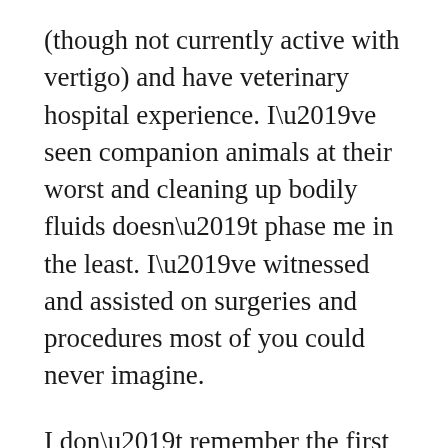(though not currently active with vertigo) and have veterinary hospital experience. I've seen companion animals at their worst and cleaning up bodily fluids doesn't phase me in the least. I've witnessed and assisted on surgeries and procedures most of you could never imagine.
I don't remember the first time Steve's GI troubles manifested I assume, because things eventually got so much worse. I remember having to kick her out of the bedroom, and I remember seeing the “butt prints,” as we so lovingly call them. I remember picking up anything she could ruin in the bathroom and closing her in there with a litter box and some food and water to let her do her thing. That was